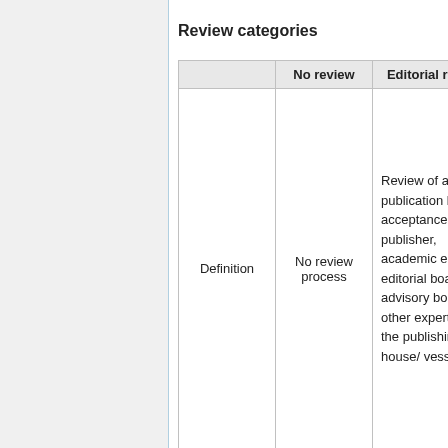Review categories
|  | No review | Editorial review |
| --- | --- | --- |
| Definition | No review process | Review of a publication before acceptance by publisher, academic editor, editorial board, advisory board or other experts of the publishing house/ vessel. |